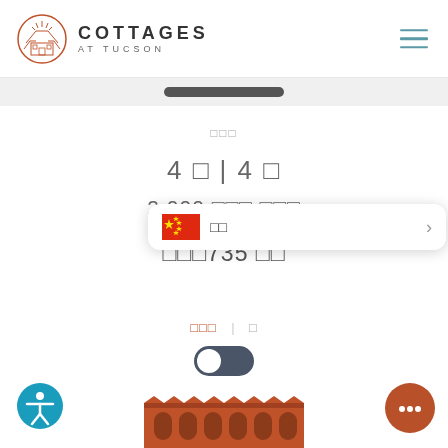[Figure (logo): Cottages at Tucson circular logo with house illustration]
COTTAGES AT TUCSON
□□□
4 □ | 4 □
2,000 □□□ □□□
□□□735 □□
[Figure (screenshot): Language selector popup showing Chinese flag and '□□' label with arrow]
□□□ | □
[Figure (other): Toggle switch in dark/on state]
[Figure (illustration): Building facade illustration at bottom of page]
[Figure (other): Accessibility icon button (blue circle with person)]
[Figure (other): Chat button (brown circle with ellipsis)]